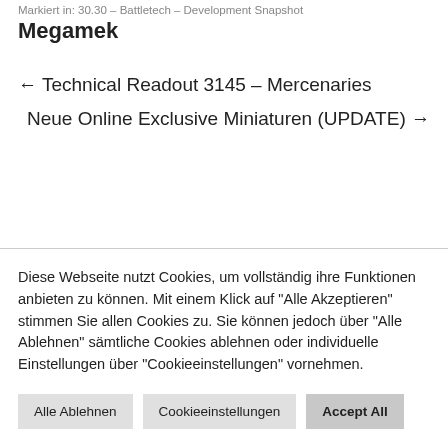Markiert in: 30.30 – Battletech – Development Snapshot
Megamek
← Technical Readout 3145 – Mercenaries
Neue Online Exclusive Miniaturen (UPDATE) →
Diese Webseite nutzt Cookies, um vollständig ihre Funktionen anbieten zu können. Mit einem Klick auf "Alle Akzeptieren" stimmen Sie allen Cookies zu. Sie können jedoch über "Alle Ablehnen" sämtliche Cookies ablehnen oder individuelle Einstellungen über "Cookieeinstellungen" vornehmen.
Alle Ablehnen | Cookieeinstellungen | Accept All